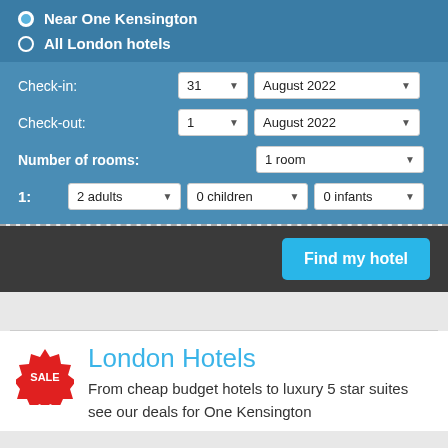Near One Kensington
All London hotels
Check-in:
31 ▾   August 2022 ▾
Check-out:
1 ▾   August 2022 ▾
Number of rooms:
1 room ▾
1:   2 adults ▾   0 children ▾   0 infants ▾
Find my hotel
London Hotels
From cheap budget hotels to luxury 5 star suites see our deals for One Kensington